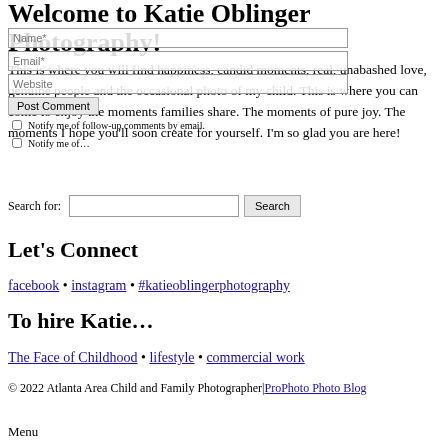Welcome to Katie Oblinger Photography!
This is where you will find happiness, candid moments, real, unabashed love, genuine people and the occasional photo of my child. This is where you can come to enjoy the moments families share. The moments of pure joy. The moments I hope you'll soon create for yourself. I'm so glad you are here!
Search for: [input] Search
Let's Connect
facebook • instagram • #katieoblingerphotography
To hire Katie…
The Face of Childhood • lifestyle • commercial work
© 2022 Atlanta Area Child and Family Photographer|ProPhoto Photo Blog
Menu